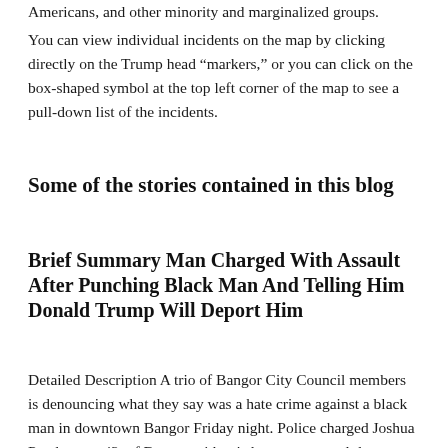Americans, and other minority and marginalized groups.
You can view individual incidents on the map by clicking directly on the Trump head “markers,” or you can click on the box-shaped symbol at the top left corner of the map to see a pull-down list of the incidents.
Some of the stories contained in this blog
Brief Summary Man Charged With Assault After Punching Black Man And Telling Him Donald Trump Will Deport Him
Detailed Description A trio of Bangor City Council members is denouncing what they say was a hate crime against a black man in downtown Bangor Friday night. Police charged Joshua Pendergast, 42, of Bangor with misdemeanor assault late